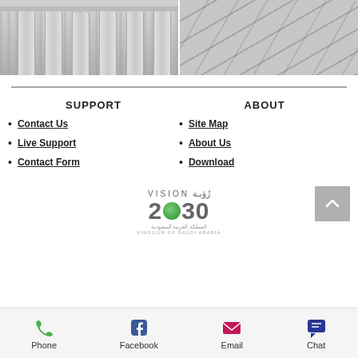[Figure (photo): Two photos side by side: left shows stone/granite pillars or columns architectural detail; right shows diagonal lines on a granite stone wall surface]
SUPPORT
ABOUT
Contact Us
Site Map
Live Support
About Us
Contact Form
Download
[Figure (logo): Vision 2030 logo with Arabic text and Kingdom of Saudi Arabia text]
Phone  Facebook  Email  Chat